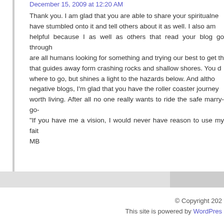December 15, 2009 at 12:20 AM
Thank you. I am glad that you are able to share your spiritualne have stumbled onto it and tell others about it as well. I also am helpful because I as well as others that read your blog go through are all humans looking for something and trying our best to get th that guides away form crashing rocks and shallow shores. You d where to go, but shines a light to the hazards below. And altho negative blogs, I'm glad that you have the roller coaster journey worth living. After all no one really wants to ride the safe marry-go- "If you have me a vision, I would never have reason to use my fait MB
© Copyright 202
This site is powered by WordPress